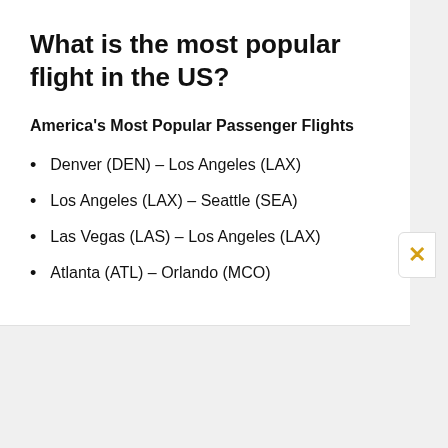What is the most popular flight in the US?
America's Most Popular Passenger Flights
Denver (DEN) – Los Angeles (LAX)
Los Angeles (LAX) – Seattle (SEA)
Las Vegas (LAS) – Los Angeles (LAX)
Atlanta (ATL) – Orlando (MCO)